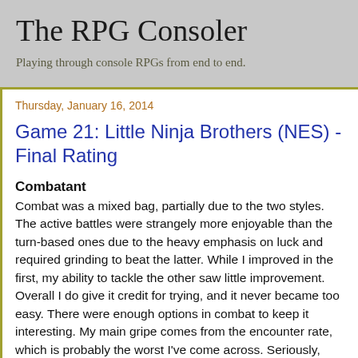The RPG Consoler
Playing through console RPGs from end to end.
Thursday, January 16, 2014
Game 21: Little Ninja Brothers (NES) - Final Rating
Combatant
Combat was a mixed bag, partially due to the two styles. The active battles were strangely more enjoyable than the turn-based ones due to the heavy emphasis on luck and required grinding to beat the latter. While I improved in the first, my ability to tackle the other saw little improvement. Overall I do give it credit for trying, and it never became too easy. There were enough options in combat to keep it interesting. My main gripe comes from the encounter rate, which is probably the worst I've come across. Seriously, why